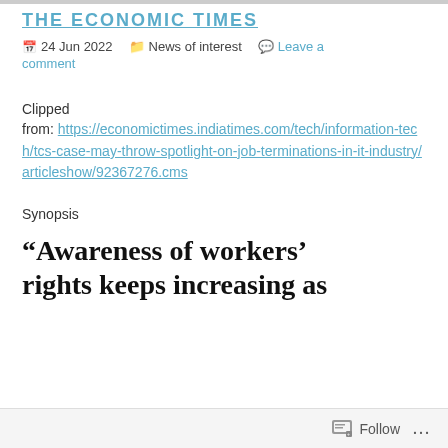THE ECONOMIC TIMES
24 Jun 2022   News of interest   Leave a comment
Clipped from: https://economictimes.indiatimes.com/tech/information-tech/tcs-case-may-throw-spotlight-on-job-terminations-in-it-industry/articleshow/92367276.cms
Synopsis
“Awareness of workers’ rights keeps increasing as
Follow ...